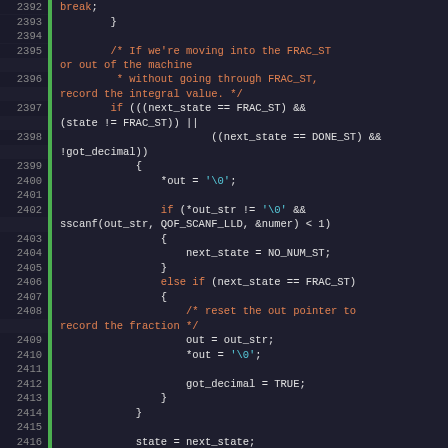[Figure (screenshot): Source code listing showing C code lines 2392-2420 with syntax highlighting. Line numbers in left gutter, green bar indicator, keywords in orange, string literals in cyan, comments in orange, identifiers in white, on dark background.]